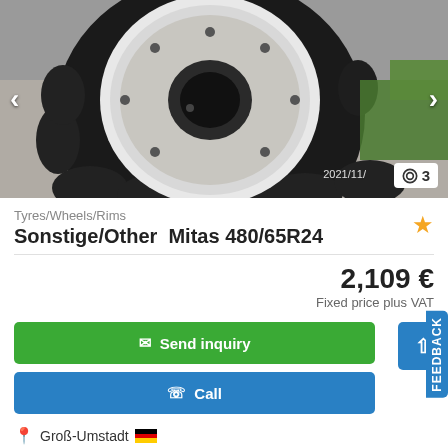[Figure (photo): Overhead view of a large black agricultural tractor tyre mounted on a white rim/wheel, viewed from above showing the tread pattern and hub. Date watermark: 2021/11/]
Tyres/Wheels/Rims
Sonstige/Other  Mitas 480/65R24
2,109 €
Fixed price plus VAT
✉ Send inquiry
✆ Call
Groß-Umstadt